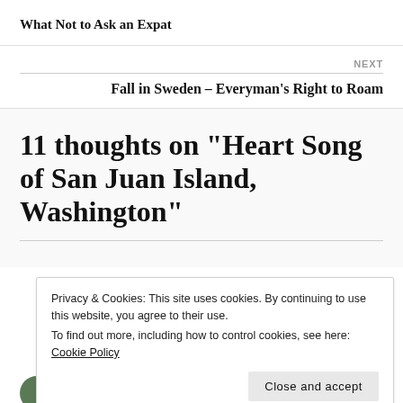What Not to Ask an Expat
NEXT
Fall in Sweden – Everyman's Right to Roam
11 thoughts on “Heart Song of San Juan Island, Washington”
Privacy & Cookies: This site uses cookies. By continuing to use this website, you agree to their use.
To find out more, including how to control cookies, see here: Cookie Policy
Close and accept